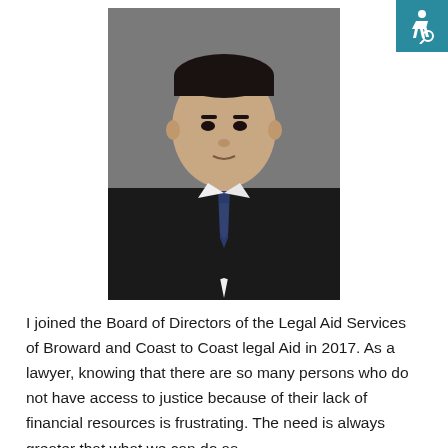[Figure (photo): Professional headshot of a man in a black suit with a blue patterned tie, against a gray background]
I joined the Board of Directors of the Legal Aid Services of Broward and Coast to Coast legal Aid in 2017. As a lawyer, knowing that there are so many persons who do not have access to justice because of their lack of financial resources is frustrating.  The need is always greater that what we can do as